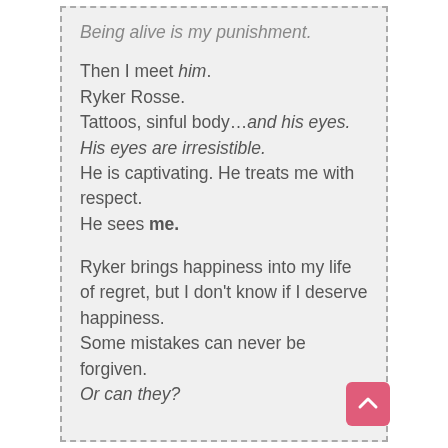Being alive is my punishment.

Then I meet him.
Ryker Rosse.
Tattoos, sinful body…and his eyes.
His eyes are irresistible.
He is captivating. He treats me with respect.
He sees me.

Ryker brings happiness into my life of regret, but I don't know if I deserve happiness.
Some mistakes can never be forgiven.
Or can they?